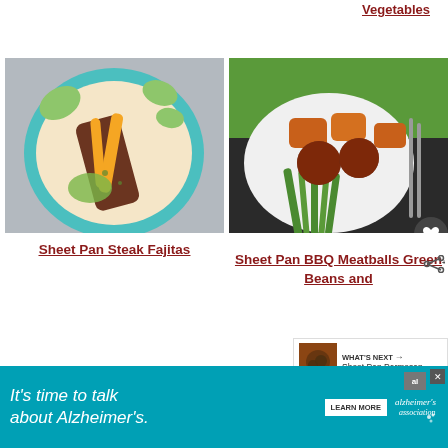Vegetables
[Figure (photo): Overhead view of sheet pan steak fajitas with lime wedges and colorful peppers on a blue plate with tortillas]
[Figure (photo): Overhead view of sheet pan BBQ meatballs with green beans and sweet potatoes on a white plate]
Sheet Pan Steak Fajitas
Sheet Pan BBQ Meatballs Green Beans and
WHAT'S NEXT → Sheet Pan Parmesan...
[Figure (photo): Advertisement: It's time to talk about Alzheimer's. Learn More. Alzheimer's Association logo.]